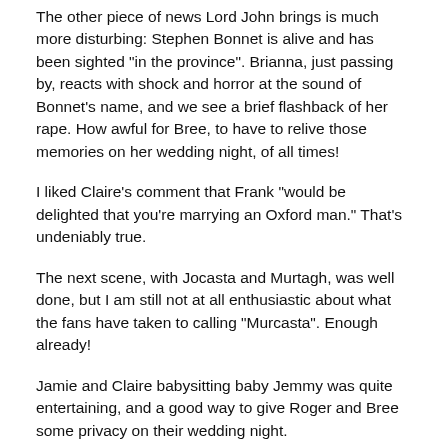The other piece of news Lord John brings is much more disturbing: Stephen Bonnet is alive and has been sighted "in the province". Brianna, just passing by, reacts with shock and horror at the sound of Bonnet's name, and we see a brief flashback of her rape. How awful for Bree, to have to relive those memories on her wedding night, of all times!
I liked Claire's comment that Frank "would be delighted that you're marrying an Oxford man." That's undeniably true.
The next scene, with Jocasta and Murtagh, was well done, but I am still not at all enthusiastic about what the fans have taken to calling "Murcasta". Enough already!
Jamie and Claire babysitting baby Jemmy was quite entertaining, and a good way to give Roger and Bree some privacy on their wedding night.